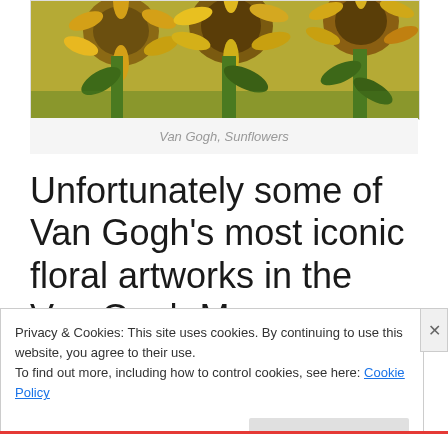[Figure (photo): Partial view of Van Gogh's Sunflowers painting showing yellow sunflowers with green stems and dark brown centers against a yellow-green background]
Van Gogh, Sunflowers
Unfortunately some of Van Gogh’s most iconic floral artworks in the Van Gogh Museum, painted in 1888 and 1889, are now facing the test of time.
Privacy & Cookies: This site uses cookies. By continuing to use this website, you agree to their use.
To find out more, including how to control cookies, see here: Cookie Policy